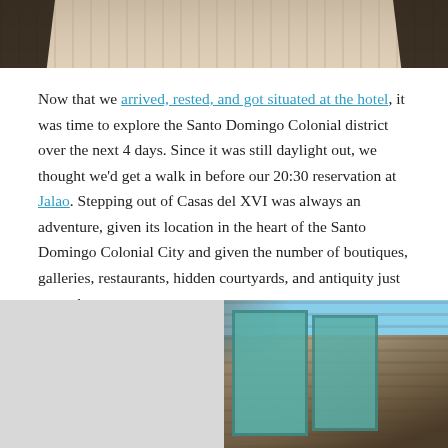[Figure (photo): Top portion of a photo showing a brick/paved courtyard or entrance with dark iron gate posts on either side]
Now that we arrived, rested, and got situated at the hotel, it was time to explore the Santo Domingo Colonial district over the next 4 days. Since it was still daylight out, we thought we'd get a walk in before our 20:30 reservation at Jalao. Stepping out of Casas del XVI was always an adventure, given its location in the heart of the Santo Domingo Colonial City and given the number of boutiques, galleries, restaurants, hidden courtyards, and antiquity just around every corner.
[Figure (photo): Left photo: light gray placeholder or partially loaded image]
[Figure (photo): Right photo: street scene in Santo Domingo Colonial City showing weathered wooden building facade with turquoise/teal painted doors, and a person walking on the street below a blue sky]